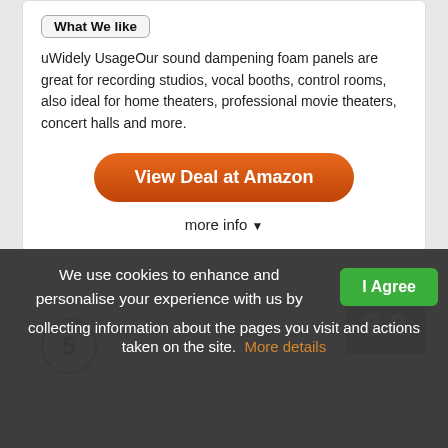What We like
uWidely UsageOur sound dampening foam panels are great for recording studios, vocal booths, control rooms, also ideal for home theaters, professional movie theaters, concert halls and more.
View Deal at Amazon
more info ▼
5
8.9
We use cookies to enhance and personalise your experience with us by collecting information about the pages you visit and actions taken on the site. More details
I Agree